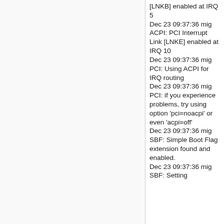[LNKB] enabled at IRQ 5
Dec 23 09:37:36 mig ACPI: PCI Interrupt Link [LNKE] enabled at IRQ 10
Dec 23 09:37:36 mig PCI: Using ACPI for IRQ routing
Dec 23 09:37:36 mig PCI: if you experience problems, try using option 'pci=noacpi' or even 'acpi=off'
Dec 23 09:37:36 mig SBF: Simple Boot Flag extension found and enabled.
Dec 23 09:37:36 mig SBF: Setting